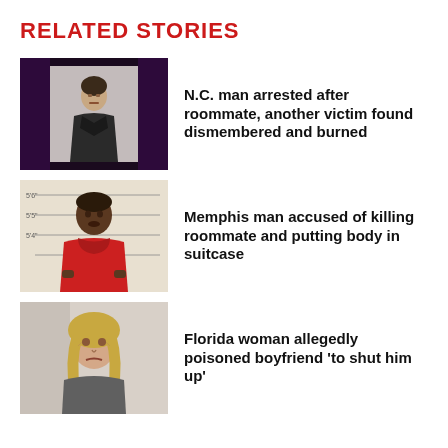RELATED STORIES
[Figure (photo): Mugshot of a young white male against institutional wall background with dark purple frame]
N.C. man arrested after roommate, another victim found dismembered and burned
[Figure (photo): Mugshot of a Black man in red hoodie against height measurement chart background]
Memphis man accused of killing roommate and putting body in suitcase
[Figure (photo): Mugshot of an older white woman with blonde hair against light background]
Florida woman allegedly poisoned boyfriend 'to shut him up'